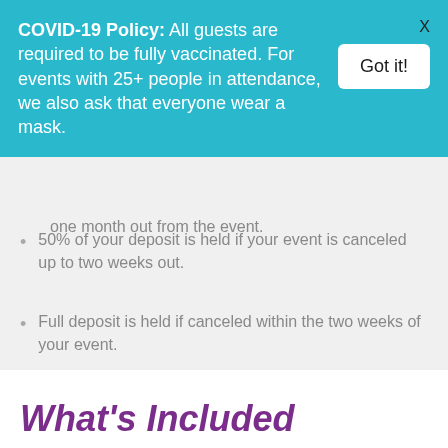COVID-19 Policy: All guests are required to be fully vaccinated. For events with 25+ people in attendance, we also ask that everyone wear a mask.
one month out from the event.
50% of your deposit is held if your event is canceled up to two weeks out.
Full deposit is held if canceled within the two weeks of your event.
What's Included